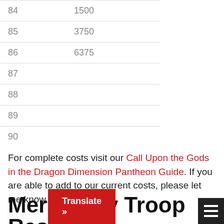| Level | Cost |
| --- | --- |
| 84 | 1500 |
| 85 | 3750 |
| 86 | 6375 |
| 87 |  |
| 88 |  |
| 89 |  |
| 90 |  |
For complete costs visit our Call Upon the Gods in the Dragon Dimension Pantheon Guide. If you are able to add to our current costs, please let me know.
Mercenary Troop Research